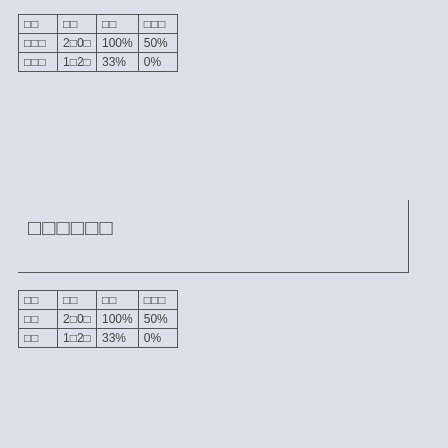| □□ | □□ | □□ | □□□ |
| --- | --- | --- | --- |
| □□□ | 2□0□ | 100% | 50% |
| □□□ | 1□2□ | 33% | 0% |
□□□□□□
| □□ | □□ | □□ | □□□ |
| --- | --- | --- | --- |
| □□ | 2□0□ | 100% | 50% |
| □□ | 1□2□ | 33% | 0% |
□□□□□□□
| □□□ | □□ | □□ | □□□ |
| --- | --- | --- | --- |
| □□□□□ | 2□0□ | 100% | 0% |
| □□□□ | 1□0□ | 100% | 100% |
| □□□□□ | 0□2□ | 0% | 0% |